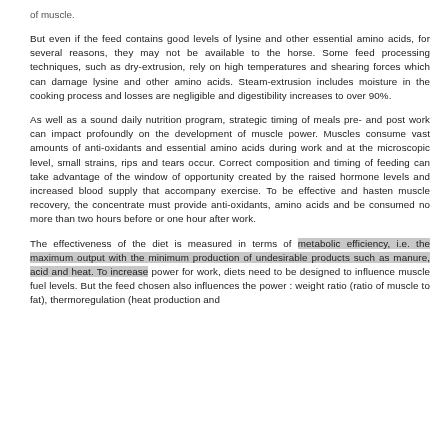of muscle.
But even if the feed contains good levels of lysine and other essential amino acids, for several reasons, they may not be available to the horse. Some feed processing techniques, such as dry-extrusion, rely on high temperatures and shearing forces which can damage lysine and other amino acids. Steam-extrusion includes moisture in the cooking process and losses are negligible and digestibility increases to over 90%.
As well as a sound daily nutrition program, strategic timing of meals pre- and post work can impact profoundly on the development of muscle power. Muscles consume vast amounts of anti-oxidants and essential amino acids during work and at the microscopic level, small strains, rips and tears occur. Correct composition and timing of feeding can take advantage of the window of opportunity created by the raised hormone levels and increased blood supply that accompany exercise. To be effective and hasten muscle recovery, the concentrate must provide anti-oxidants, amino acids and be consumed no more than two hours before or one hour after work.
The effectiveness of the diet is measured in terms of metabolic efficiency, i.e. the maximum output with the minimum production of undesirable products such as manure, acid and heat. To increase power for work, diets need to be designed to influence muscle fuel levels. But the feed chosen also influences the power : weight ratio (ratio of muscle to fat), thermoregulation (heat production and